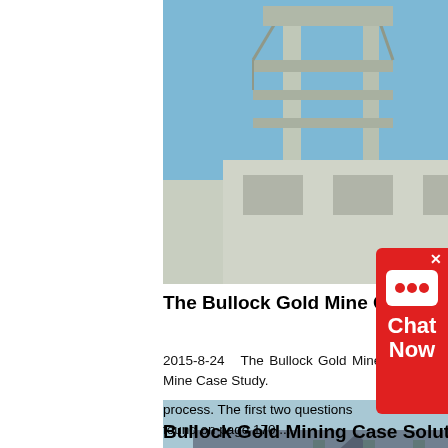[Figure (photo): Industrial gold mining facility with tall metal scaffolding structures against a blue sky]
The Bullock Gold Mine Case Study - Essays -
2015-8-24  The Bullock Gold Mine Case Study. The Bullock Gold Mine Case Study Environmental process. The first two questions found on page 170 ...
[Figure (photo): Industrial mining conveyor belt structure and metal framework at a mining facility]
Bullock Gold Mining Case Solution Case Solution And
...
Bullock Gold Mining Case
[Figure (photo): Mining equipment and machinery with blue sky background and green vegetation]